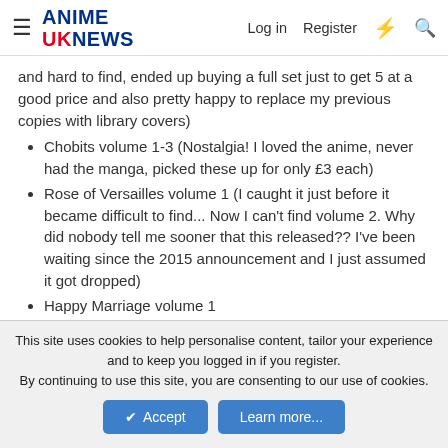ANIME UK NEWS  Log in  Register
and hard to find, ended up buying a full set just to get 5 at a good price and also pretty happy to replace my previous copies with library covers)
Chobits volume 1-3 (Nostalgia! I loved the anime, never had the manga, picked these up for only £3 each)
Rose of Versailles volume 1 (I caught it just before it became difficult to find... Now I can't find volume 2. Why did nobody tell me sooner that this released?? I've been waiting since the 2015 announcement and I just assumed it got dropped)
Happy Marriage volume 1
I am Here! volume 1 (Super relatable if you were the quiet, misunderstood outsider girl in high school like I was, one of the most relatable protagonists ever for me)
The Way of the House Husband volume 1 (Almost...
This site uses cookies to help personalise content, tailor your experience and to keep you logged in if you register.
By continuing to use this site, you are consenting to our use of cookies.